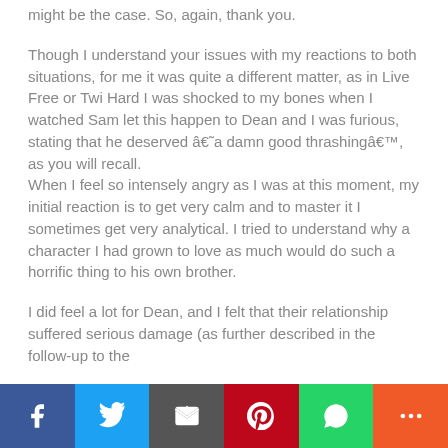might be the case. So, again, thank you.

Though I understand your issues with my reactions to both situations, for me it was quite a different matter, as in Live Free or Twi Hard I was shocked to my bones when I watched Sam let this happen to Dean and I was furious, stating that he deserved â€˜a damn good thrashingâ€™, as you will recall.
When I feel so intensely angry as I was at this moment, my initial reaction is to get very calm and to master it I sometimes get very analytical. I tried to understand why a character I had grown to love as much would do such a horrific thing to his own brother.

I did feel a lot for Dean, and I felt that their relationship suffered serious damage (as further described in the follow-up to the
[Figure (other): Social media share bar with buttons for Facebook, Twitter, Email, Pinterest, WhatsApp, and More]